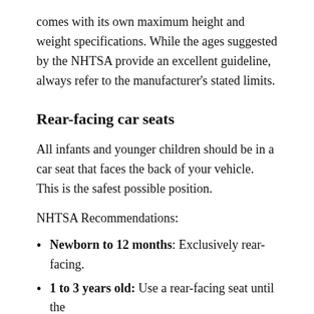comes with its own maximum height and weight specifications. While the ages suggested by the NHTSA provide an excellent guideline, always refer to the manufacturer's stated limits.
Rear-facing car seats
All infants and younger children should be in a car seat that faces the back of your vehicle. This is the safest possible position.
NHTSA Recommendations:
Newborn to 12 months: Exclusively rear-facing.
1 to 3 years old: Use a rear-facing seat until the